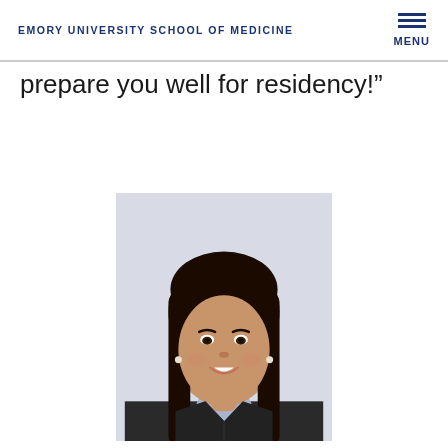EMORY UNIVERSITY SCHOOL OF MEDICINE
prepare you well for residency!”
[Figure (photo): Professional headshot of a young woman with long dark hair, wearing a black blazer and light blue top, smiling, against a light gray background]